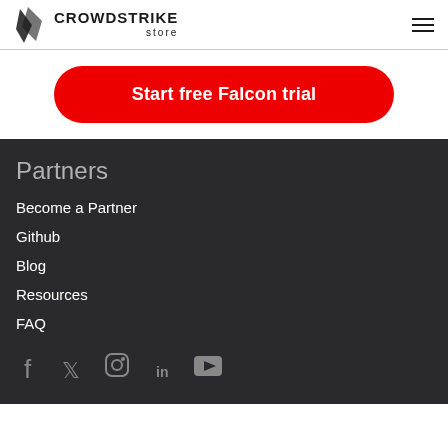CrowdStrike store
Start free Falcon trial
Partners
Become a Partner
Github
Blog
Resources
FAQ
[Figure (infographic): Social media icons: Facebook, Twitter, Instagram, LinkedIn, YouTube]